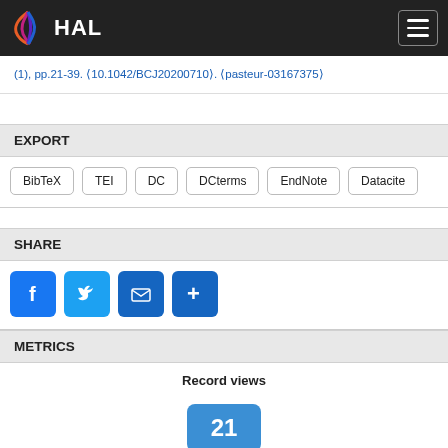HAL
(1), pp.21-39. ⟨10.1042/BCJ20200710⟩. ⟨pasteur-03167375⟩
EXPORT
BibTeX  TEI  DC  DCterms  EndNote  Datacite
SHARE
[Figure (infographic): Social share icons: Facebook, Twitter, Email, and More (+)]
METRICS
Record views
21
Files downloads